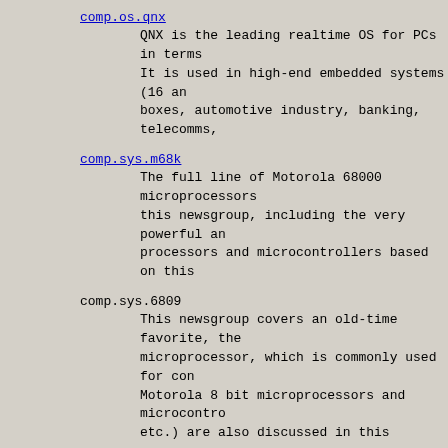comp.os.qnx
QNX is the leading realtime OS for PCs in terms
It is used in high-end embedded systems (16 an
boxes, automotive industry, banking, telecomms,
comp.sys.m68k
The full line of Motorola 68000 microprocessors
this newsgroup, including the very powerful an
processors and microcontrollers based on this
comp.sys.6809
This newsgroup covers an old-time favorite, the
microprocessor, which is commonly used for con
Motorola 8 bit microprocessors and microcontro
etc.) are also discussed in this newsgroup.
comp.sys.intel
Mostly trends and development are discussed in
From time to time you will find a discussion o
problem or feature.  This newsgroup is usually
For a while the participants spent most of the
about the Pentium bug.  Now they're all moanin
PowerPCs, and everything else BUT Intel parts.
the name of this group to alt.crybabies.boo.ho
comp.lang.misc
Sometimes questions or discussions on different
topics pop up here.  I guess it's the "misc"